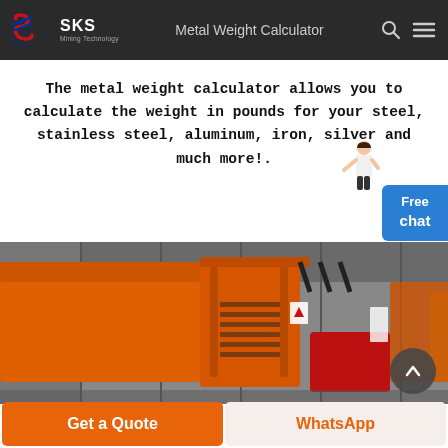SKS Mining Technology — Metal Weight Calculator
The metal weight calculator allows you to calculate the weight in pounds for your steel, stainless steel, aluminum, iron, silver and much more!.
[Figure (photo): Orange heavy mining/construction dump vehicle on a factory floor, side and rear view, with hydraulic components visible. Multiple similar orange machines in background.]
Get a Quote
WhatsApp